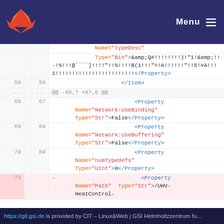Menu
Name="typeDesc"
Type="Bin">&amp;Q#!!!!!!!!)!"1!&amp;!!!-!%!!!@```` ]!!!!"!!%!!!!B(1!!!"=!A!!!!!!"!!5!#A!!!1!!!!!!!!!!!!!!!!!!!!!!!!</Property>
59 58 </Item>
... ... @@ -68,7 +67,6 @@
68 67 <Property Name="Network:UseBinding" Type="Str">False</Property>
69 68 <Property Name="Network:UseBuffering" Type="Str">False</Property>
70 69 <Property Name="numTypedefs" Type="UInt">0</Property>
71 - <Property Name="Path" Type="Str">/UHV-HeatControl-
https://git.gsi.de is provided by CIT – Linux&Web | GSI Helmholtzzentrum fu...